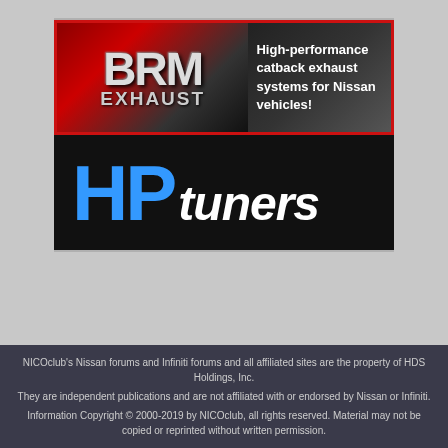[Figure (logo): BRM Exhaust advertisement banner: red and dark background with 'BRM' in large metallic letters, 'EXHAUST' below, and tagline 'High-performance catback exhaust systems for Nissan vehicles!']
[Figure (logo): HP Tuners advertisement banner: black background with 'HP' in large blue letters and 'tuners' in large white italic letters]
NICOclub's Nissan forums and Infiniti forums and all affiliated sites are the property of HDS Holdings, Inc.
They are independent publications and are not affiliated with or endorsed by Nissan or Infiniti.
Information Copyright © 2000-2019 by NICOclub, all rights reserved. Material may not be copied or reprinted without written permission.